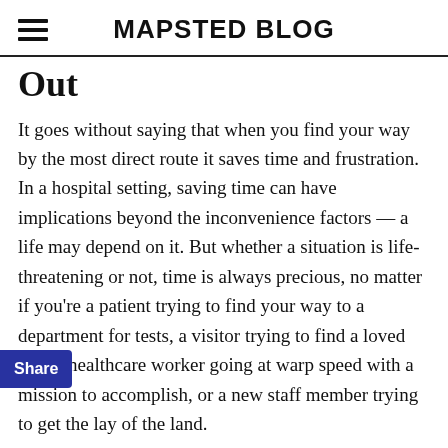MAPSTED BLOG
Out
It goes without saying that when you find your way by the most direct route it saves time and frustration. In a hospital setting, saving time can have implications beyond the inconvenience factors — a life may depend on it. But whether a situation is life-threatening or not, time is always precious, no matter if you're a patient trying to find your way to a department for tests, a visitor trying to find a loved one, a healthcare worker going at warp speed with a mission to accomplish, or a new staff member trying to get the lay of the land.